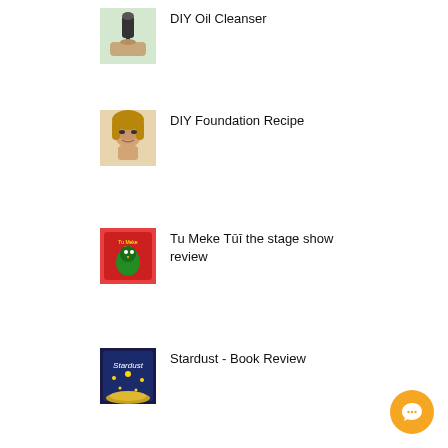DIY Oil Cleanser
DIY Foundation Recipe
Tu Meke Tūī the stage show review
Stardust - Book Review